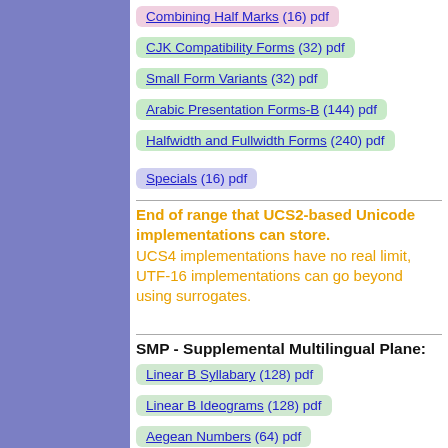Combining Half Marks (16) pdf
CJK Compatibility Forms (32) pdf
Small Form Variants (32) pdf
Arabic Presentation Forms-B (144) pdf
Halfwidth and Fullwidth Forms (240) pdf
Specials (16) pdf
End of range that UCS2-based Unicode implementations can store. UCS4 implementations have no real limit, UTF-16 implementations can go beyond using surrogates.
SMP - Supplemental Multilingual Plane:
Linear B Syllabary (128) pdf
Linear B Ideograms (128) pdf
Aegean Numbers (64) pdf
Ancient Greek Numbers (80) pdf